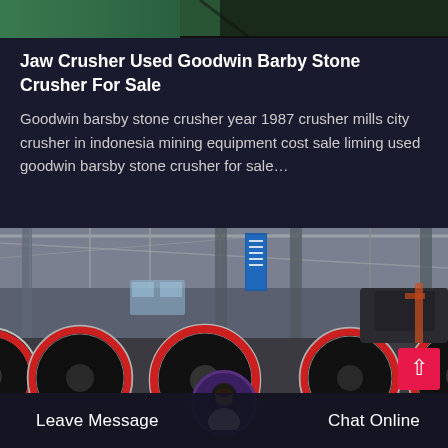[Figure (photo): Top strip showing partial image, green/dark toned background strip at top of page]
Jaw Crusher Used Goodwin Barby Stone Crusher For Sale
Goodwin barsby stone crusher year 1987 crusher mills city crusher in indonesia mining equipment cost sale liming used goodwin barsby stone crusher for sale…
[Figure (photo): Factory interior photo showing large industrial jaw crusher machinery with red and black wheels/flywheels, steel structure, blue banner sign, warehouse setting]
Leave Message
Chat Online